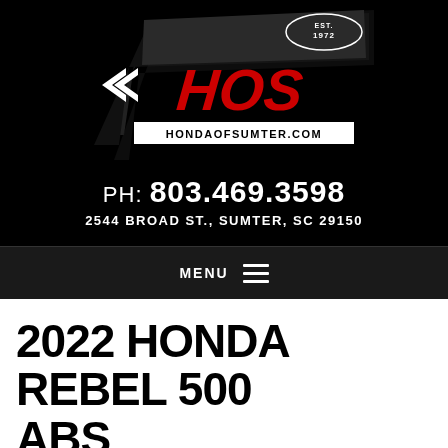[Figure (logo): HOS Honda of Sumter logo with EST. 1972, red HOS lettering, and hondaofsumter.com website URL on black background]
PH: 803.469.3598
2544 BROAD ST., SUMTER, SC 29150
MENU
2022 HONDA REBEL 500 ABS